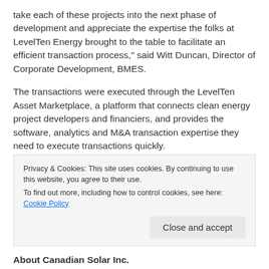take each of these projects into the next phase of development and appreciate the expertise the folks at LevelTen Energy brought to the table to facilitate an efficient transaction process," said Witt Duncan, Director of Corporate Development, BMES.
The transactions were executed through the LevelTen Asset Marketplace, a platform that connects clean energy project developers and financiers, and provides the software, analytics and M&A transaction expertise they need to execute transactions quickly.
"The LevelTen Asset Marketplace provides a centralized platform for renewable energy project sales, and delivers the tools buyers and sellers need to transact quickly. We
Privacy & Cookies: This site uses cookies. By continuing to use this website, you agree to their use.
To find out more, including how to control cookies, see here: Cookie Policy
[Close and accept]
About Canadian Solar Inc.